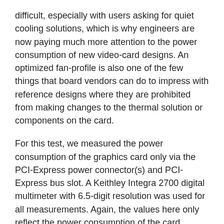difficult, especially with users asking for quiet cooling solutions, which is why engineers are now paying much more attention to the power consumption of new video-card designs. An optimized fan-profile is also one of the few things that board vendors can do to impress with reference designs where they are prohibited from making changes to the thermal solution or components on the card.
For this test, we measured the power consumption of the graphics card only via the PCI-Express power connector(s) and PCI-Express bus slot. A Keithley Integra 2700 digital multimeter with 6.5-digit resolution was used for all measurements. Again, the values here only reflect the power consumption of the card measured at DC VGA card inputs, not of the whole system.
We chose Crysis 2 as a standard test representing typical 3D gaming usage because it offers the following: very high power draw; high repeatability; is a current game that is supported on all cards because of its DirectX 9 roots; drivers are actively tested and optimized for it; supports all multi-